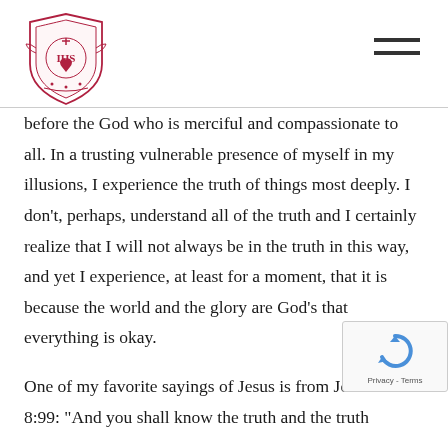[Figure (logo): Jesuit or Catholic institutional crest/shield logo in red/crimson with IHS monogram and decorative elements]
before the God who is merciful and compassionate to all. In a trusting vulnerable presence of myself in my illusions, I experience the truth of things most deeply. I don't, perhaps, understand all of the truth and I certainly realize that I will not always be in the truth in this way, and yet I experience, at least for a moment, that it is because the world and the glory are God's that everything is okay.

One of my favorite sayings of Jesus is from Jo 8:99: “And you shall know the truth and the truth